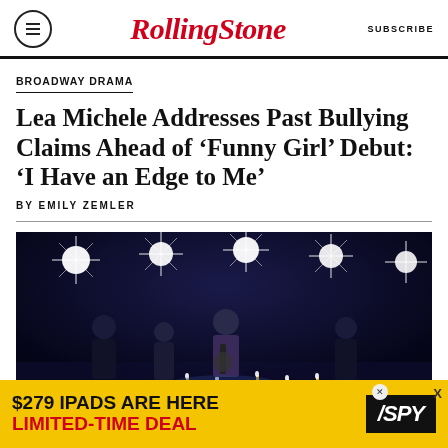Rolling Stone | SUBSCRIBE
BROADWAY DRAMA
Lea Michele Addresses Past Bullying Claims Ahead of ‘Funny Girl’ Debut: ‘I Have an Edge to Me’
BY EMILY ZEMLER
[Figure (photo): Stage performance photo with performers under bright stage lights on a dark stage]
[Figure (other): Advertisement banner: $279 IPADS ARE HERE LIMITED-TIME DEAL / SPY logo]